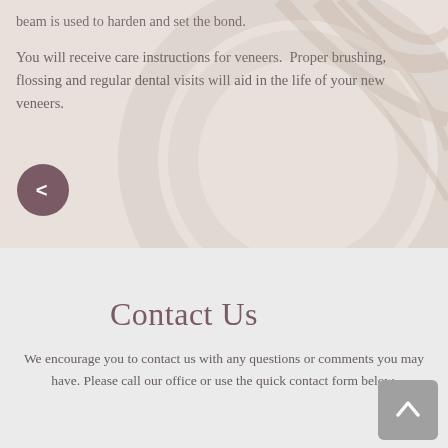beam is used to harden and set the bond.
You will receive care instructions for veneers. Proper brushing, flossing and regular dental visits will aid in the life of your new veneers.
Contact Us
We encourage you to contact us with any questions or comments you may have. Please call our office or use the quick contact form below.